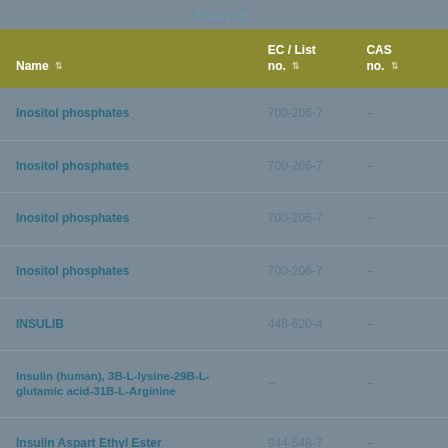Previous
| Name | EC / List no. | CAS no. |
| --- | --- | --- |
| Inositol phosphates | 700-206-7 | – |
| Inositol phosphates | 700-206-7 | – |
| Inositol phosphates | 700-206-7 | – |
| Inositol phosphates | 700-206-7 | – |
| INSULIB | 448-620-4 | – |
| Insulin (human), 3B-L-lysine-29B-L-glutamic acid-31B-L-Arginine | – | – |
| Insulin Aspart Ethyl Ester | 944-548-7 | – |